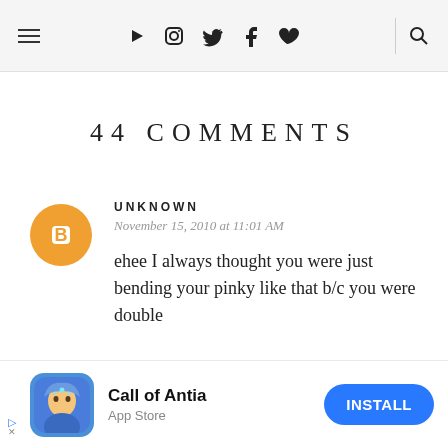≡ ▶ 📷 🐦 f ♥ 🔍
44 COMMENTS
[Figure (illustration): Blogger avatar icon — orange circle with white 'B' letter in center]
UNKNOWN
November 15, 2010 at 11:01 AM
ehee I always thought you were just bending your pinky like that b/c you were double
[Figure (other): Dropdown chevron button]
[Figure (illustration): Call of Antia app advertisement banner with fantasy character illustration, 'Call of Antia' title, 'App Store' subtitle, and blue INSTALL button]